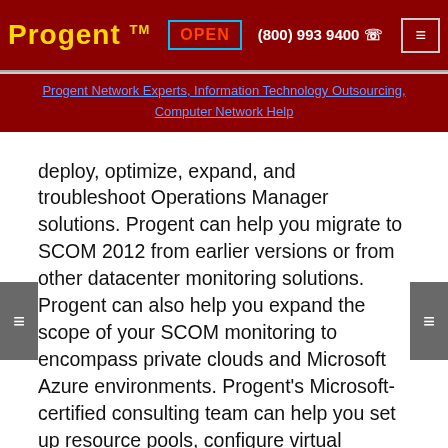Progent™ | OPEN | (800) 993 9400 | ☏ | ≡
Progent Network Experts, Information Technology Outsourcing, Computer Network Help
deploy, optimize, expand, and troubleshoot Operations Manager solutions. Progent can help you migrate to SCOM 2012 from earlier versions or from other datacenter monitoring solutions. Progent can also help you expand the scope of your SCOM monitoring to encompass private clouds and Microsoft Azure environments. Progent's Microsoft-certified consulting team can help you set up resource pools, configure virtual machines, and design management reports. In addition, Progent offers System Center 2016 consulting to help you manage a hybrid cloud environment with the latest version of System Center.
Progent can also help you select and configure SCOM management packs for your various